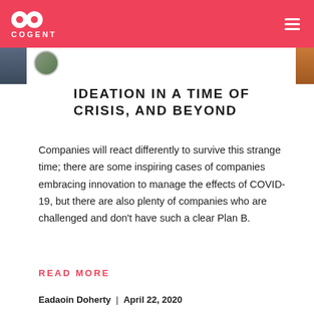COGENT
IDEATION IN A TIME OF CRISIS, AND BEYOND
Companies will react differently to survive this strange time; there are some inspiring cases of companies embracing innovation to manage the effects of COVID-19, but there are also plenty of companies who are challenged and don't have such a clear Plan B.
READ MORE
Eadaoin Doherty  |  April 22, 2020